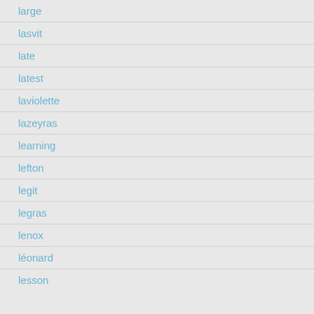large
lasvit
late
latest
laviolette
lazeyras
learning
lefton
legit
legras
lenox
léonard
lesson